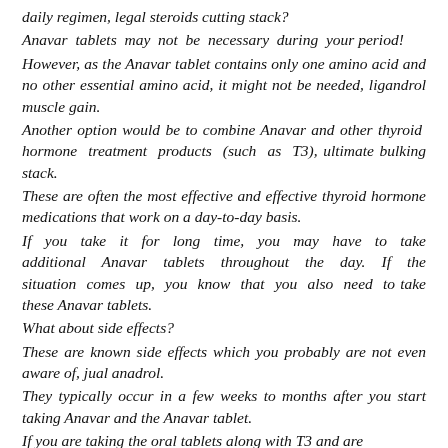daily regimen, legal steroids cutting stack?
Anavar tablets may not be necessary during your period!
However, as the Anavar tablet contains only one amino acid and no other essential amino acid, it might not be needed, ligandrol muscle gain.
Another option would be to combine Anavar and other thyroid hormone treatment products (such as T3), ultimate bulking stack.
These are often the most effective and effective thyroid hormone medications that work on a day-to-day basis.
If you take it for long time, you may have to take additional Anavar tablets throughout the day. If the situation comes up, you know that you also need to take these Anavar tablets.
What about side effects?
These are known side effects which you probably are not even aware of, jual anadrol.
They typically occur in a few weeks to months after you start taking Anavar and the Anavar tablet.
If you are taking the oral tablets along with T3 and are